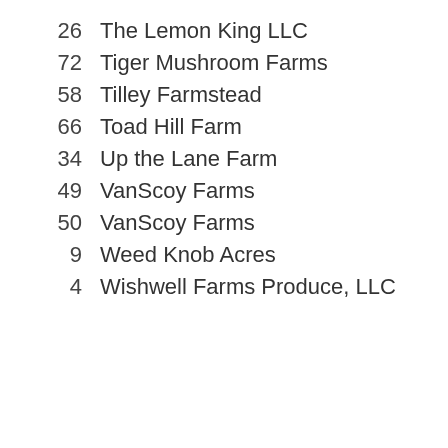26   The Lemon King LLC
72   Tiger Mushroom Farms
58   Tilley Farmstead
66   Toad Hill Farm
34   Up the Lane Farm
49   VanScoy Farms
50   VanScoy Farms
9   Weed Knob Acres
4   Wishwell Farms Produce, LLC